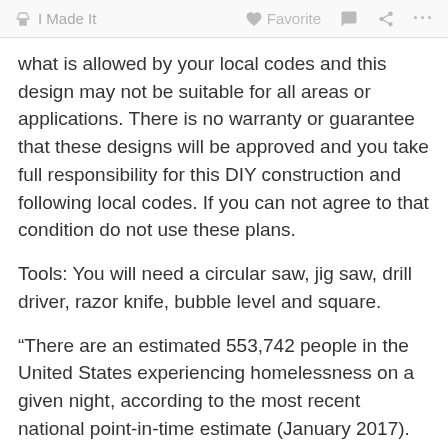I Made It   Favorite   ...
what is allowed by your local codes and this design may not be suitable for all areas or applications. There is no warranty or guarantee that these designs will be approved and you take full responsibility for this DIY construction and following local codes. If you can not agree to that condition do not use these plans.
Tools: You will need a circular saw, jig saw, drill driver, razor knife, bubble level and square.
“There are an estimated 553,742 people in the United States experiencing homelessness on a given night, according to the most recent national point-in-time estimate (January 2017). This represents a rate of approximately 17 people experiencing homelessness per every 10,000 people in the general population.” -